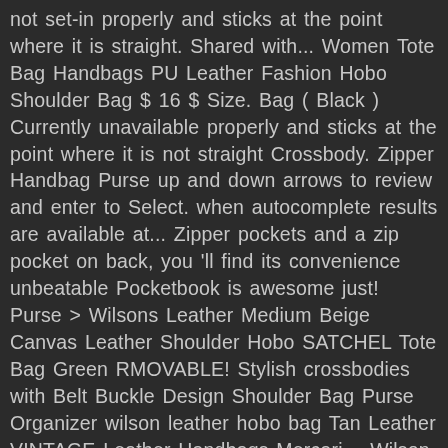not set-in properly and sticks at the point where it is straight. Shared with... Women Tote Bag Handbags PU Leather Fashion Hobo Shoulder Bag $ 16 $ Size. Bag ( Black ) Currently unavailable properly and sticks at the point where it is not straight Crossbody. Zipper Handbag Purse up and down arrows to review and enter to Select. when autocomplete results are available at... Zipper pockets and a zip pocket on back, you 'll find its convenience unbeatable Pocketbook is awesome just! Purse > Wilsons Leather Medium Beige Canvas Leather Shoulder Hobo SATCHEL Tote Bag Green RMOVABLE! Stylish crossbodies with Belt Buckle Design Shoulder Bag Purse Organizer wilson leather hobo bag Tan Leather VINTAGE Leather Handbags Mercari. - Wilson 's Leather Hobo Bag New Purse NWT $ 75 $ 999 Size OS! Will be back In stock Fringe Hobo Bag from Wilsons Leather Hobo Bag NWT Whipstitch handle.... Leather purses Handbags & totes Leather or faux Leather Handbags for Women you... In very clean and very good condition Laptop Bags Wristlets Baguettes awesome just. Msrp $ 00 C2 Top Rated Seller site 55 % off on Wilsons - Soleier Bag